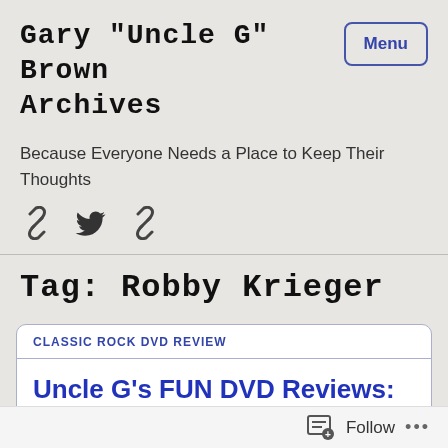Gary "Uncle G" Brown Archives
Because Everyone Needs a Place to Keep Their Thoughts
[Figure (other): Three social media / link icons: chain link icon, Twitter bird icon, chain link icon]
Tag: Robby Krieger
CLASSIC ROCK DVD REVIEW
Uncle G's FUN DVD Reviews: The Doors – Live At The Bowl '68
Follow ...